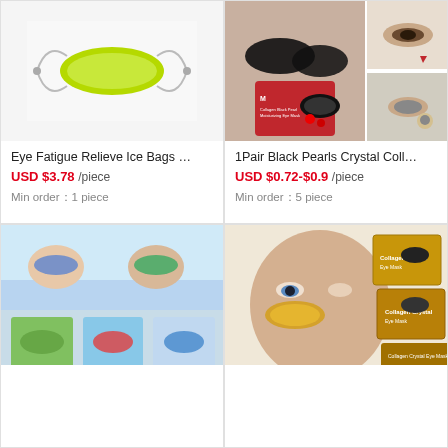[Figure (photo): Green gel eye bag ice pack product on white background]
Eye Fatigue Relieve Ice Bags …
USD $3.78 /piece
Min order：1 piece
[Figure (photo): Black Pearl Crystal Collagen eye mask product collage with model and packaging]
1Pair Black Pearls Crystal Coll…
USD $0.72-$0.9 /piece
Min order：5 piece
[Figure (photo): Colorful gel eye masks in blue, green, red, blue on beach background]
[Figure (photo): Gold collagen crystal eye mask product with model and stacked boxes]